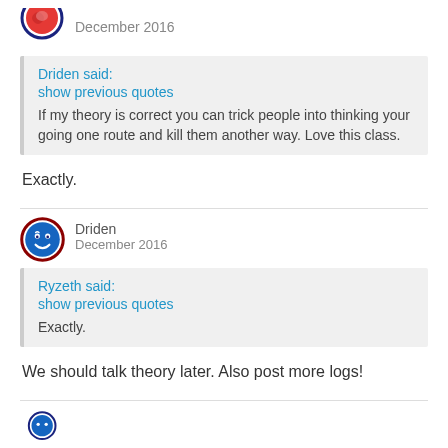[Figure (illustration): Red swirl avatar icon with dark border, partial view at top]
December 2016
Driden said:
show previous quotes
If my theory is correct you can trick people into thinking your going one route and kill them another way. Love this class.
Exactly.
[Figure (illustration): Blue smiley face avatar icon with dark red/maroon border]
Driden
December 2016
Ryzeth said:
show previous quotes
Exactly.
We should talk theory later. Also post more logs!
[Figure (illustration): Partial avatar at the bottom of the page]